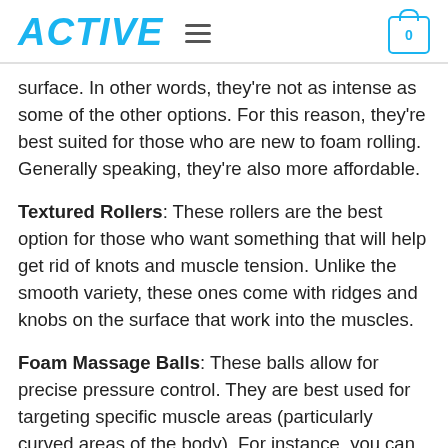ACTIVE
surface. In other words, they're not as intense as some of the other options. For this reason, they're best suited for those who are new to foam rolling. Generally speaking, they're also more affordable.
Textured Rollers: These rollers are the best option for those who want something that will help get rid of knots and muscle tension. Unlike the smooth variety, these ones come with ridges and knobs on the surface that work into the muscles.
Foam Massage Balls: These balls allow for precise pressure control. They are best used for targeting specific muscle areas (particularly curved areas of the body). For instance, you can use them to roll...